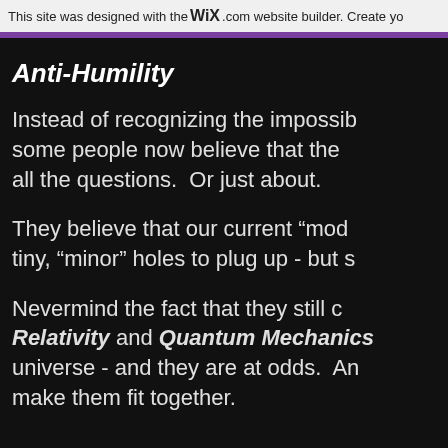This site was designed with the WiX.com website builder. Create yo
Anti-Humility
Instead of recognizing the impossib some people now believe that the all the questions.  Or just about.
They believe that our current "mod tiny, "minor" holes to plug up - but s
Nevermind the fact that they still c Relativity and Quantum Mechanics universe - and they are at odds.  An make them fit together.